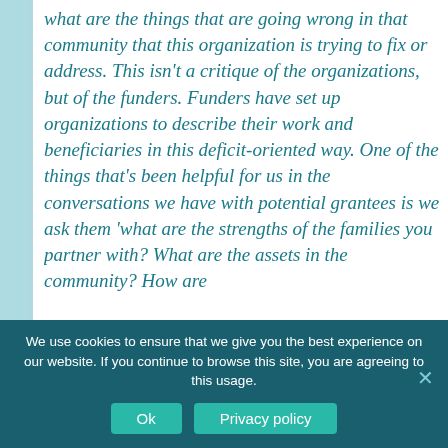what are the things that are going wrong in that community that this organization is trying to fix or address. This isn't a critique of the organizations, but of the funders. Funders have set up organizations to describe their work and beneficiaries in this deficit-oriented way. One of the things that's been helpful for us in the conversations we have with potential grantees is we ask them 'what are the strengths of the families you partner with? What are the assets in the community? How are
We use cookies to ensure that we give you the best experience on our website. If you continue to browse this site, you are agreeing to this usage.